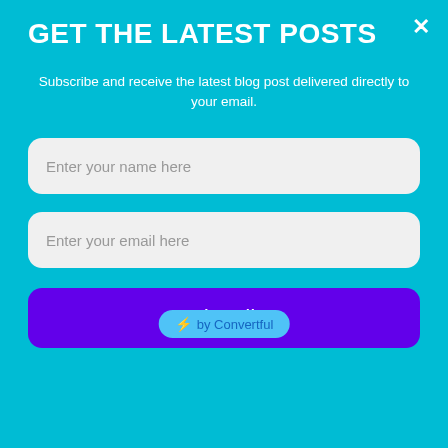GET THE LATEST POSTS
Subscribe and receive the latest blog post delivered directly to your email.
Enter your name here
Enter your email here
Subscribe
⚡ by Convertful
on the forefront in disciplining and instructing them in the LORD. It's only a Christian father who can achieve this as his heart is inclined to God. [Proverbs 22:6, Deuteronomy 6:6-9].
Ephesians 6:4
Fathers, do not provoke your children to anger but